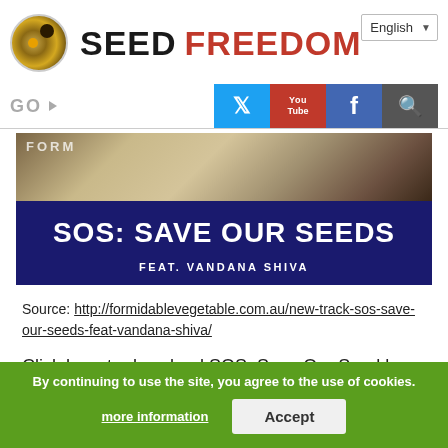[Figure (logo): Seed Freedom logo with circular seed image and text 'SEED FREEDOM' in black and red]
[Figure (screenshot): Navigation bar with GO dropdown, Twitter, YouTube, Facebook, and Search icons]
[Figure (photo): Banner image with dark blue background showing 'SOS: SAVE OUR SEEDS FEAT. VANDANA SHIVA' text]
Source: http://formidablevegetable.com.au/new-track-sos-save-our-seeds-feat-vandana-shiva/
Click here to download SOS: Save Our Seed by Formidable Vegetable Sound System
We're delighted to announce that, for the first time in a long time, we've completed a new track! It's aim is to celebrate the global Seed Freedom movement and the
By continuing to use the site, you agree to the use of cookies. more information Accept